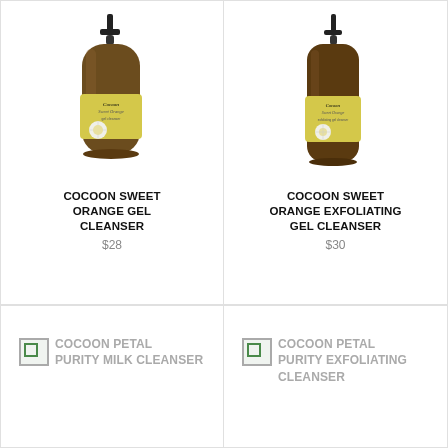[Figure (photo): Amber pump bottle with yellow label reading Cocoon Sweet Orange Gel Cleanser]
COCOON SWEET ORANGE GEL CLEANSER
$28
[Figure (photo): Amber pump bottle with yellow label reading Cocoon Sweet Orange Exfoliating Gel Cleanser]
COCOON SWEET ORANGE EXFOLIATING GEL CLEANSER
$30
[Figure (photo): Broken image placeholder for Cocoon Petal Purity Milk Cleanser]
COCOON PETAL PURITY MILK CLEANSER
[Figure (photo): Broken image placeholder for Cocoon Petal Purity Exfoliating Cleanser]
COCOON PETAL PURITY EXFOLIATING CLEANSER